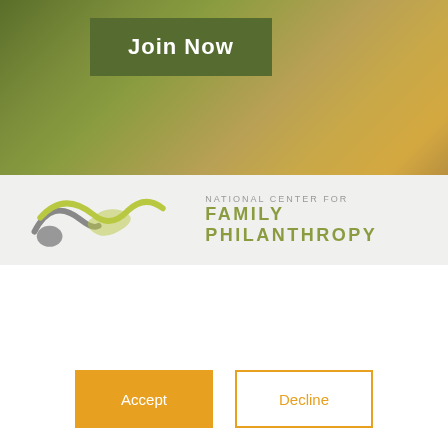[Figure (photo): Website header background image showing blurred green and golden/yellow tones, likely a nature or hands photograph]
Join Now
[Figure (logo): National Center for Family Philanthropy logo with infinity-like swoosh graphic in olive green and gray, with text 'NATIONAL CENTER FOR FAMILY PHILANTHROPY']
This website stores cookies on your computer. These cookies are used to collect information about how you interact with our website and allow us to remember you. We use this information in order to improve and customize your browsing experience and for analytics and metrics about our visitors both on this website and other media. To find out more about the cookies we use, see our Privacy Policy.
If you decline, your information won't be tracked when you visit this website. A single cookie will be used in your browser to remember your preference not to be tracked.
Accept
Decline